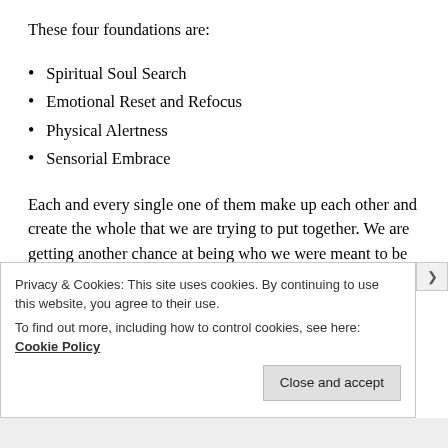These four foundations are:
Spiritual Soul Search
Emotional Reset and Refocus
Physical Alertness
Sensorial Embrace
Each and every single one of them make up each other and create the whole that we are trying to put together. We are getting another chance at being who we were meant to be and it is so important to be the best version of ourselves. I
Privacy & Cookies: This site uses cookies. By continuing to use this website, you agree to their use.
To find out more, including how to control cookies, see here: Cookie Policy
Close and accept